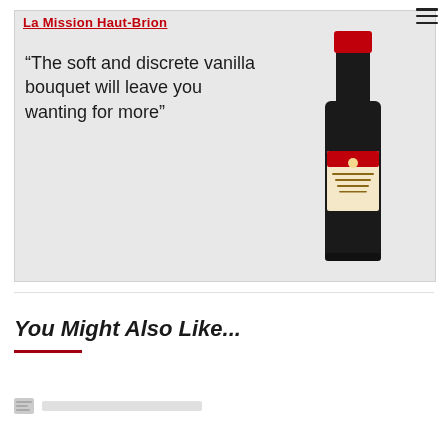[Figure (photo): Wine promotional image showing a red wine bottle (dark glass with red foil top and a label reading 'La Mission Haut-Brion') on the right side against a light grey background. On the left side is a grey panel with the brand name 'La Mission Haut-Brion' in bold red underlined text at the top, followed by a large quote in dark text: "The soft and discrete vanilla bouquet will leave you wanting for more". A vertical dark red line divides the text area from the bottle.]
You Might Also Like...